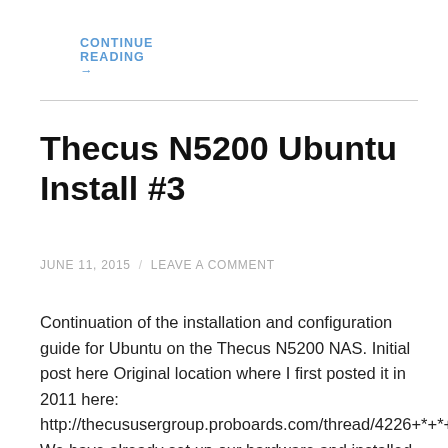CONTINUE READING →
Thecus N5200 Ubuntu Install #3
JUNE 11, 2015  /  LEAVE A COMMENT
Continuation of the installation and configuration guide for Ubuntu on the Thecus N5200 NAS. Initial post here Original location where I first posted it in 2011 here: http://thecususergroup.proboards.com/thread/4226+*+*+*+*+*+*+*+*+*+*+*+*+*+*+*+*+*+*+*+*+*+*+*+ We have already set up our hardware and installed Ubuntu, next… #===== RAID CONFIG =====#  # HOW TO CREATE A